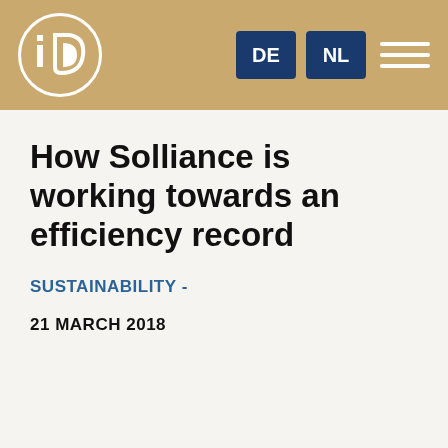IO | DE | NL
How Solliance is working towards an efficiency record
SUSTAINABILITY -
21 MARCH 2018